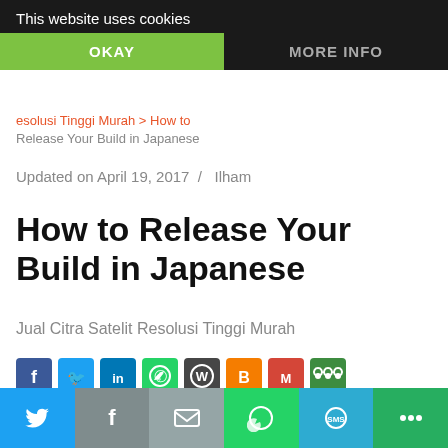This website uses cookies
OKAY
MORE INFO
Resolusi Tinggi Murah > How to Release Your Build in Japanese
Updated on April 19, 2017  /  Ilham
How to Release Your Build in Japanese
Jual Citra Satelit Resolusi Tinggi Murah
[Figure (other): Row of social sharing icons: Facebook, Twitter, LinkedIn, WhatsApp, WordPress, Blogger, Gmail, More]
How to Rep Your
Twitter | Facebook | Email | WhatsApp | SMS | More sharing buttons